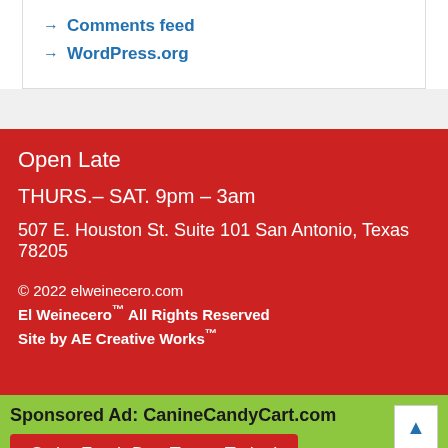→ Comments feed
→ WordPress.org
Open Late
THURS.- SAT. 9pm – 3am
507 E. Houston St. Suite 101 San Antonio, Texas 78205
© 2022 elweinecero.com
El Weinecero™ All Rights Reserved
Site by AE Creative Works™
Sponsored Ad: CanineCandyCart.com
Order Fresh Dog Treats Today!